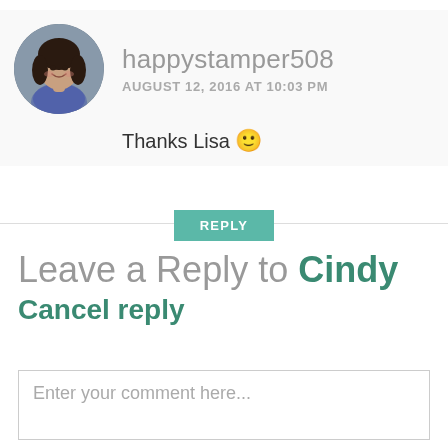[Figure (photo): Circular avatar photo of a woman with dark hair, smiling, wearing a patterned blue top]
happystamper508
AUGUST 12, 2016 AT 10:03 PM
Thanks Lisa 🙂
REPLY
Leave a Reply to Cindy
Cancel reply
Enter your comment here...